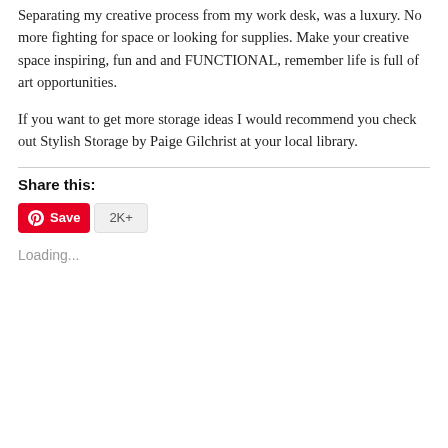Separating my creative process from my work desk, was a luxury. No more fighting for space or looking for supplies. Make your creative space inspiring, fun and and FUNCTIONAL, remember life is full of art opportunities.
If you want to get more storage ideas I would recommend you check out Stylish Storage by Paige Gilchrist at your local library.
Share this:
[Figure (other): Pinterest Save button with red background and white text, followed by a grey badge showing '2K+']
Loading...